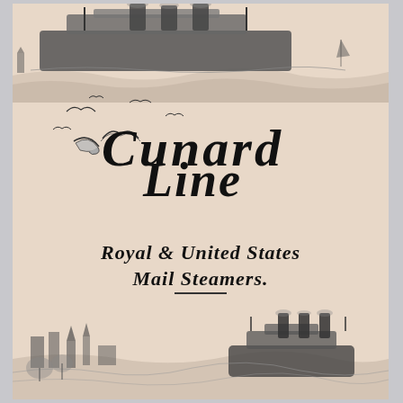[Figure (illustration): Large ocean liner steamship viewed from the side, with smaller sailboat in background, seagulls flying in the scene with ocean waves]
Cunard Line
Royal & United States Mail Steamers.
Europe America
[Figure (illustration): Harbor scene with city skyline, church spires, and large steamship at bottom of page]